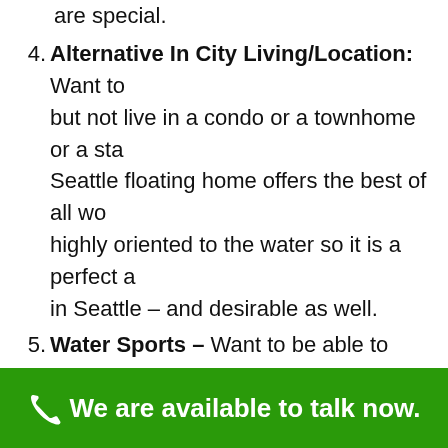are special.
4. Alternative In City Living/Location: Want to but not live in a condo or a townhome or a sta Seattle floating home offers the best of all wo highly oriented to the water so it is a perfect a in Seattle – and desirable as well.
5. Water Sports – Want to be able to launch you house? Stand Up Paddleboard? You might be your water ski boat, sailboat, or electric boat u house. If you are interested in living a Seattle fl you can moor your companion boat next to, th
We are available to talk now.